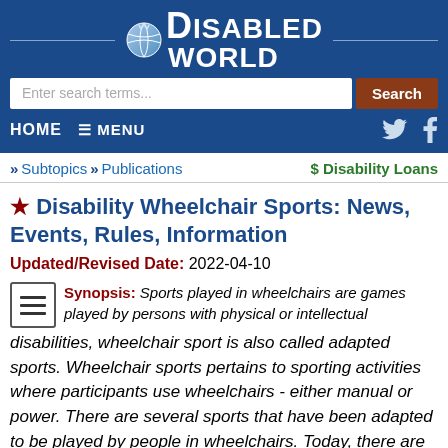Disabled World
★ Disability Wheelchair Sports: News, Events, Rules, Information
Updated/Revised Date: 2022-04-10
Synopsis: Sports played in wheelchairs are games played by persons with physical or intellectual disabilities, wheelchair sport is also called adapted sports. Wheelchair sports pertains to sporting activities where participants use wheelchairs - either manual or power. There are several sports that have been adapted to be played by people in wheelchairs. Today, there are